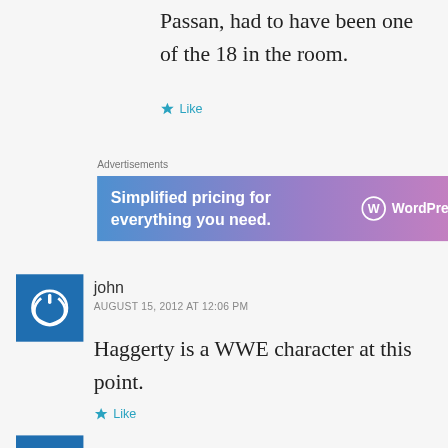Passan, had to have been one of the 18 in the room.
[Figure (other): Star/like button row with teal star icon and 'Like' text]
Advertisements
[Figure (other): WordPress.com advertisement banner: 'Simplified pricing for everything you need.' with WordPress.com logo on gradient blue-purple-pink background]
REPORT THIS AD
[Figure (other): Blue square avatar icon with power/circle symbol for commenter 'john']
john
AUGUST 15, 2012 AT 12:06 PM
Haggerty is a WWE character at this point.
[Figure (other): Star/like button row with teal star icon and 'Like' text]
[Figure (other): Blue square avatar icon partially visible at bottom of page]